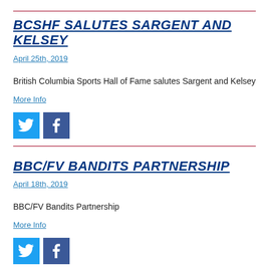BCSHF SALUTES SARGENT AND KELSEY
April 25th, 2019
British Columbia Sports Hall of Fame salutes Sargent and Kelsey
More Info
[Figure (other): Twitter and Facebook social share icons]
BBC/FV BANDITS PARTNERSHIP
April 18th, 2019
BBC/FV Bandits Partnership
More Info
[Figure (other): Twitter and Facebook social share icons]